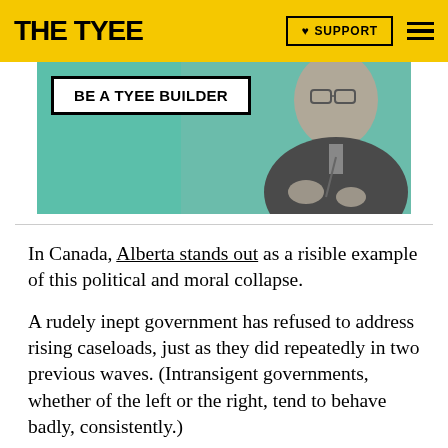THE TYEE
[Figure (photo): Banner advertisement for The Tyee featuring a woman with glasses on a teal background, with text 'BE A TYEE BUILDER' in a bordered box]
In Canada, Alberta stands out as a risible example of this political and moral collapse.
A rudely inept government has refused to address rising caseloads, just as they did repeatedly in two previous waves. (Intransigent governments, whether of the left or the right, tend to behave badly, consistently.)